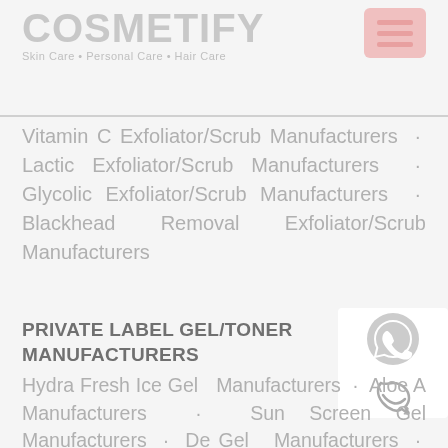COSMETIFY
Skin Care • Personal Care • Hair Care
Vitamin C Exfoliator/Scrub Manufacturers • Lactic Exfoliator/Scrub Manufacturers • Glycolic Exfoliator/Scrub Manufacturers • Blackhead Removal Exfoliator/Scrub Manufacturers
PRIVATE LABEL GEL/TONER MANUFACTURERS
Hydra Fresh Ice Gel Manufacturers • Aloe A Manufacturers • Sun Screen Gel Manufacturers • De Gel Manufacturers • Vitamin C Skin Li Manufacturers • Cucumber Gel Manufacturers • Vitamin E Gel Manufacturers • Anti Acne Gel Manufacturers • Vitamin C Toner Manufacturers • Hydrating Toner Manufacturers • Tea Tree Toner Manufacturers